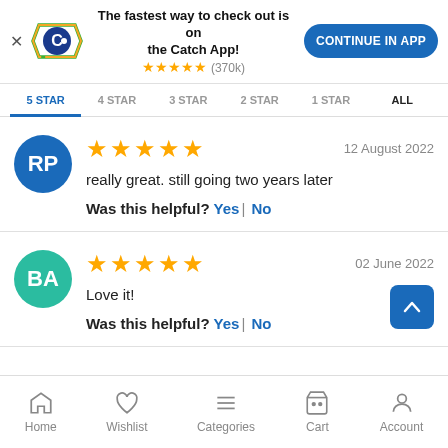[Figure (screenshot): Catch app banner with logo, headline 'The fastest way to check out is on the Catch App!', star rating (370k reviews), and CONTINUE IN APP button]
5 STAR   4 STAR   3 STAR   2 STAR   1 STAR   ALL
RP avatar (blue circle) | ★★★★★ | 12 August 2022 | really great. still going two years later | Was this helpful? Yes | No
BA avatar (teal circle) | ★★★★★ | 02 June 2022 | Love it! | Was this helpful? Yes | No
Home   Wishlist   Categories   Cart   Account